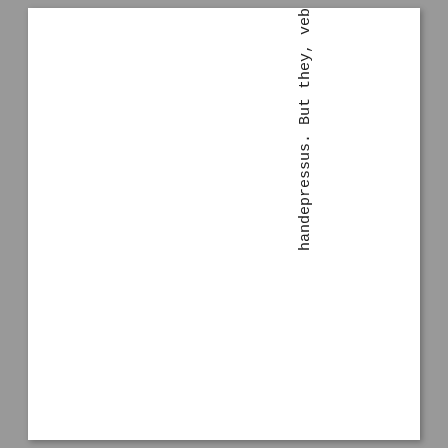h
a
n
d
d
e
p
r
e
s
s
u
s
.
B
u
t
t
h
e
y,

v
e
b